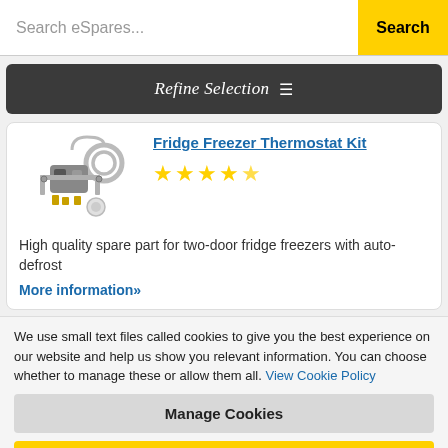Search eSpares...  Search
Refine Selection
[Figure (photo): Fridge Freezer Thermostat Kit product image showing thermostat components]
Fridge Freezer Thermostat Kit — 4.5 star rating
High quality spare part for two-door fridge freezers with auto-defrost
More information»
We use small text files called cookies to give you the best experience on our website and help us show you relevant information. You can choose whether to manage these or allow them all. View Cookie Policy
Manage Cookies
Allow All